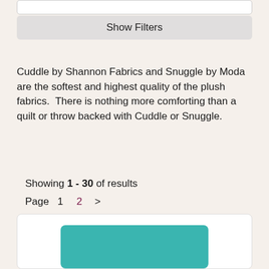Show Filters
Cuddle by Shannon Fabrics and Snuggle by Moda are the softest and highest quality of the plush fabrics.  There is nothing more comforting than a quilt or throw backed with Cuddle or Snuggle.
Showing 1 - 30 of results
Page  1   2  >
[Figure (photo): A teal/turquoise colored plush fabric swatch shown as a product image on a white card background.]